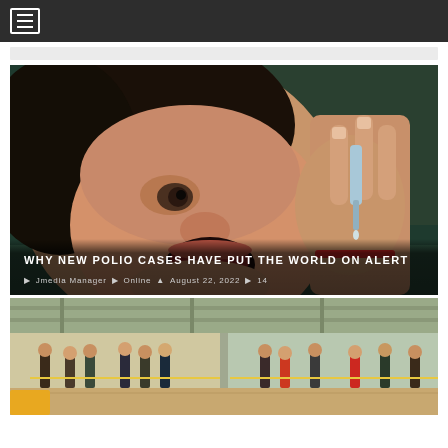≡ (navigation menu)
[Figure (photo): Child receiving oral polio vaccine drops from a healthcare worker's hand holding a dropper]
WHY NEW POLIO CASES HAVE PUT THE WORLD ON ALERT
Jmedia Manager  Online  August 22, 2022  14
[Figure (photo): People standing in a gymnasium or sports hall setting, group activity scene]